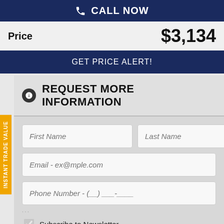CALL NOW
Price  $3,134
GET PRICE ALERT!
REQUEST MORE INFORMATION
First Name
Last Name
Email - ex@mple.com
Phone Number - (__) ___-____
Subscribe to Newsletter
Captcha is required.
SUBMIT